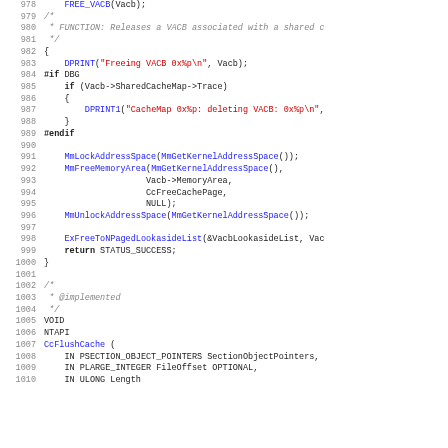[Figure (screenshot): Source code listing in monospace font showing C/C++ code for a VACB (Virtual Address Control Block) cache management function, with line numbers 978-1010, featuring colored syntax highlighting (blue for function calls, red for string literals, gray italic for comments).]